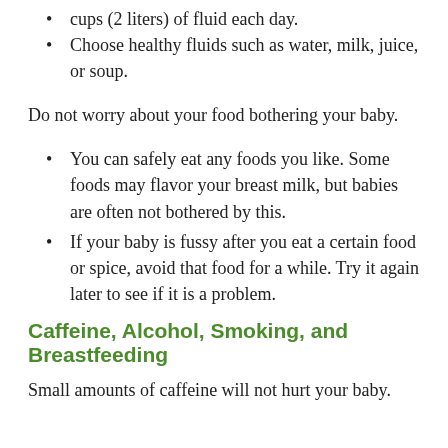cups (2 liters) of fluid each day.
Choose healthy fluids such as water, milk, juice, or soup.
Do not worry about your food bothering your baby.
You can safely eat any foods you like. Some foods may flavor your breast milk, but babies are often not bothered by this.
If your baby is fussy after you eat a certain food or spice, avoid that food for a while. Try it again later to see if it is a problem.
Caffeine, Alcohol, Smoking, and Breastfeeding
Small amounts of caffeine will not hurt your baby.